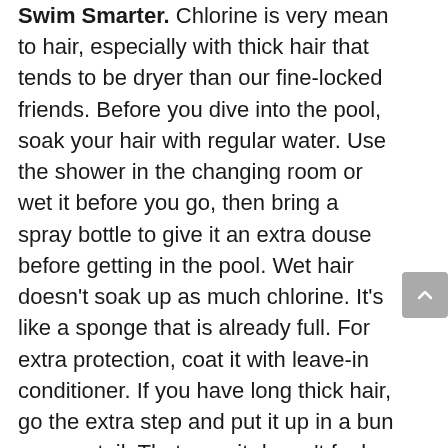Swim Smarter. Chlorine is very mean to hair, especially with thick hair that tends to be dryer than our fine-locked friends. Before you dive into the pool, soak your hair with regular water. Use the shower in the changing room or wet it before you go, then bring a spray bottle to give it an extra douse before getting in the pool. Wet hair doesn't soak up as much chlorine. It's like a sponge that is already full. For extra protection, coat it with leave-in conditioner. If you have long thick hair, go the extra step and put it up in a bun or pony tail. That way, it doesn't feel like it's dragging you down in the pool!